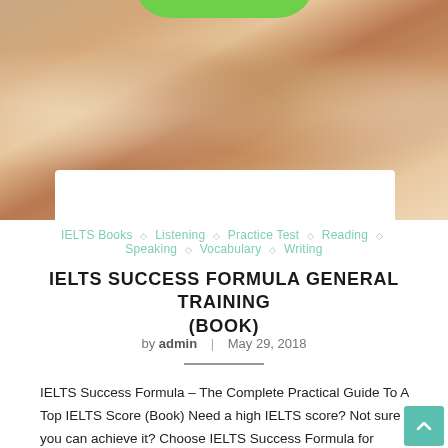[Figure (photo): Group of diverse young people smiling and giving thumbs up, with a green arc logo at the top and a white band at the bottom of the photo area]
IELTS Books ◇ Listening ◇ Practice Test ◇ Reading ◇ Speaking ◇ Vocabulary ◇ Writing
IELTS SUCCESS FORMULA GENERAL TRAINING (BOOK)
by admin | May 29, 2018
IELTS Success Formula – The Complete Practical Guide To A Top IELTS Score (Book) Need a high IELTS score? Not sure you can achieve it? Choose IELTS Success Formula for test...